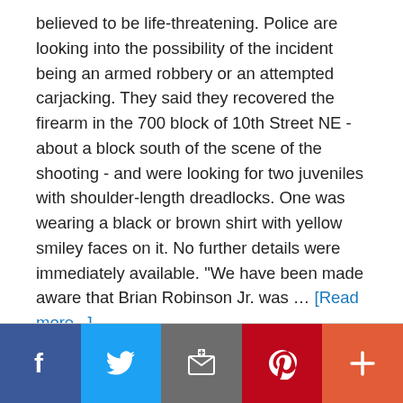believed to be life-threatening. Police are looking into the possibility of the incident being an armed robbery or an attempted carjacking. They said they recovered the firearm in the 700 block of 10th Street NE - about a block south of the scene of the shooting - and were looking for two juveniles with shoulder-length dreadlocks. One was wearing a black or brown shirt with yellow smiley faces on it. No further details were immediately available. "We have been made aware that Brian Robinson Jr. was … [Read more...]
[Figure (infographic): Social media sharing bar with five buttons: Facebook (blue), Twitter (light blue), Email (grey), Pinterest (red), and More/Plus (orange-red)]